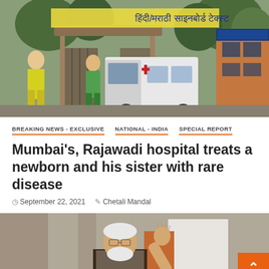[Figure (photo): Exterior photo of Rajawadi hospital entrance with ambulance parked, signage in Hindi/Marathi above gate, trees visible, yellow-green-clad workers standing nearby]
BREAKING NEWS - EXCLUSIVE   NATIONAL - INDIA   SPECIAL REPORT
Mumbai's, Rajawadi hospital treats a newborn and his sister with rare disease
September 22, 2021   Chetali Mandal
[Figure (photo): Person in dark vest waving hand, standing in front of a building, partially cropped at bottom of page. Orange scroll-to-top button visible at bottom right.]